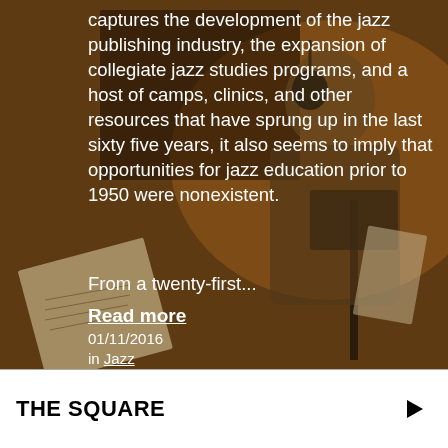[Figure (photo): A bearded man in a tweed jacket reviewing sheet music at a music stand in a dimly lit, warm-toned room. The background has a warm brownish-orange tone.]
captures the development of the jazz publishing industry, the expansion of collegiate jazz studies programs, and a host of camps, clinics, and other resources that have sprung up in the last sixty five years, it also seems to imply that opportunities for jazz education prior to 1950 were nonexistent.
From a twenty-first...
Read more
01/11/2016
in Jazz
THE SQUARE